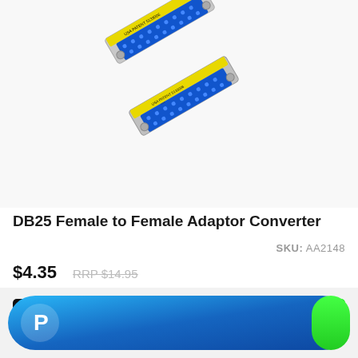[Figure (photo): Two DB25 female to female adaptor converters shown side by side at an angle. The connectors have yellow plastic housing/label strips, blue pin inserts, and silver metal shells with screws. Text on yellow strip reads 'USA PATENT 5133006' and similar markings.]
DB25 Female to Female Adaptor Converter
SKU: AA2148
$4.35
RRP $14.95
[Figure (screenshot): PayPal payment button - a wide rounded pill-shaped button with blue gradient background and white PayPal 'P' logo on the left side.]